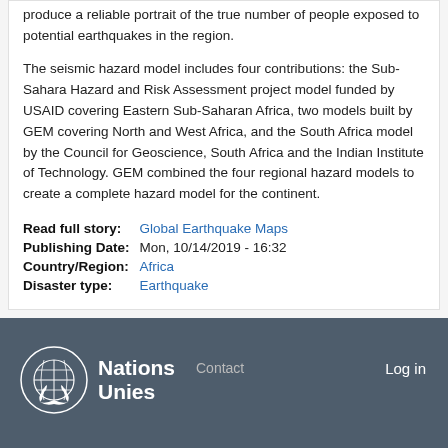produce a reliable portrait of the true number of people exposed to potential earthquakes in the region.
The seismic hazard model includes four contributions: the Sub-Sahara Hazard and Risk Assessment project model funded by USAID covering Eastern Sub-Saharan Africa, two models built by GEM covering North and West Africa, and the South Africa model by the Council for Geoscience, South Africa and the Indian Institute of Technology. GEM combined the four regional hazard models to create a complete hazard model for the continent.
Read full story: Global Earthquake Maps
Publishing Date: Mon, 10/14/2019 - 16:32
Country/Region: Africa
Disaster type: Earthquake
Nations Unies  Contact  Log in